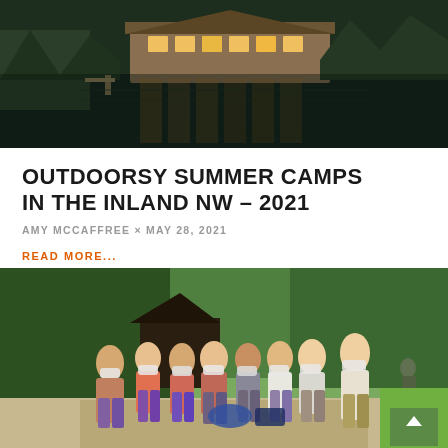[Figure (photo): Aerial/lakeside evening photo of a large lodge or camp building reflected in a calm lake, surrounded by trees, with warm interior lights glowing]
OUTDOORSY SUMMER CAMPS IN THE INLAND NW – 2021
AMY MCCAFFREE × MAY 28, 2021
READ MORE...
[Figure (photo): Group of teenage girls wearing face masks giving thumbs up, standing outdoors near trees at a summer camp]